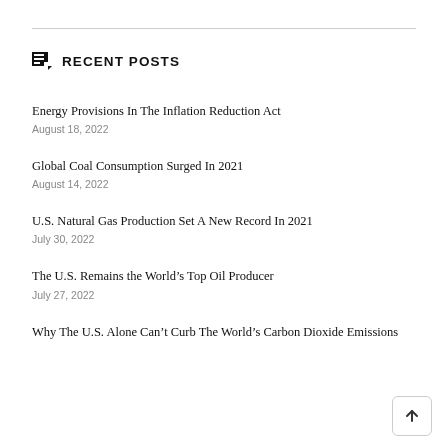RECENT POSTS
Energy Provisions In The Inflation Reduction Act
August 18, 2022
Global Coal Consumption Surged In 2021
August 14, 2022
U.S. Natural Gas Production Set A New Record In 2021
July 30, 2022
The U.S. Remains the World’s Top Oil Producer
July 27, 2022
Why The U.S. Alone Can’t Curb The World’s Carbon Dioxide Emissions